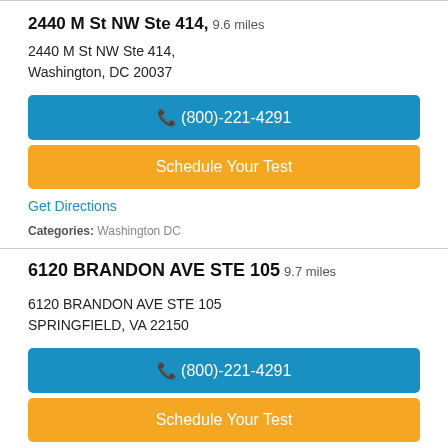2440 M St NW Ste 414, 9.6 miles
2440 M St NW Ste 414,
Washington, DC 20037
☎ (800)-221-4291
Schedule Your Test
Get Directions
Categories: Washington DC
6120 BRANDON AVE STE 105  9.7 miles
6120 BRANDON AVE STE 105
SPRINGFIELD, VA 22150
☎ (800)-221-4291
Schedule Your Test
Get Directions